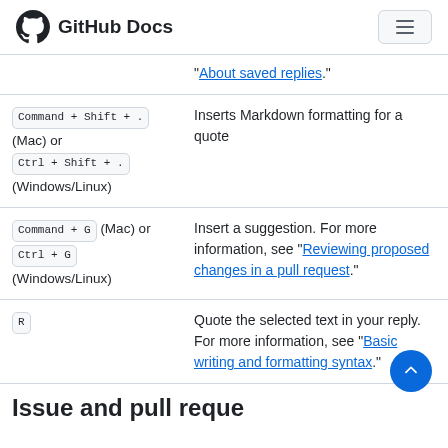GitHub Docs
"About saved replies."
| Keyboard shortcut | Description |
| --- | --- |
| Command + Shift + . (Mac) or Ctrl + Shift + . (Windows/Linux) | Inserts Markdown formatting for a quote |
| Command + G (Mac) or Ctrl + G (Windows/Linux) | Insert a suggestion. For more information, see "Reviewing proposed changes in a pull request." |
| R | Quote the selected text in your reply. For more information, see "Basic writing and formatting syntax." |
Issue and pull request lists